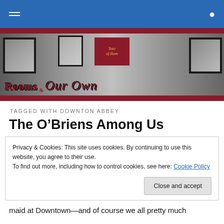Navigation bar with hamburger menu and search icon
[Figure (photo): Banner image for 'Rooms of Our Own' blog showing a hallway with framed artwork on walls, grayscale photo with red and gold overlay text reading 'Rooms of Our Own' in stylized script]
TAGGED WITH DOWNTON ABBEY
The O'Briens Among Us
Privacy & Cookies: This site uses cookies. By continuing to use this website, you agree to their use.
To find out more, including how to control cookies, see here: Cookie Policy
Close and accept
maid at Downtown—and of course we all pretty much